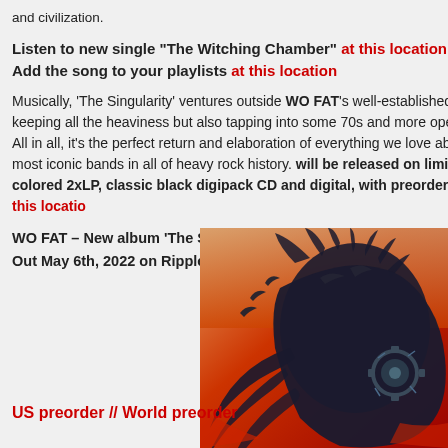and civilization.
Listen to new single “The Witching Chamber” at this location
Add the song to your playlists at this location
Musically, ‘The Singularity’ ventures outside WO FAT’s well-established paradigm, keeping all the heaviness but also tapping into some 70s and more open jamminess. All in all, it’s the perfect return and elaboration of everything we love about one of the most iconic bands in all of heavy rock history. It will be released on limited edition colored 2xLP, classic black 2xLP, digipack CD and digital, with preorder available at this location
WO FAT – New album ‘The Singularity’
Out May 6th, 2022 on Ripple Music
[Figure (illustration): Album cover art for WO FAT The Singularity - detailed illustrated artwork with dark mechanical and organic creature imagery on red/orange background]
US preorder // World preorder